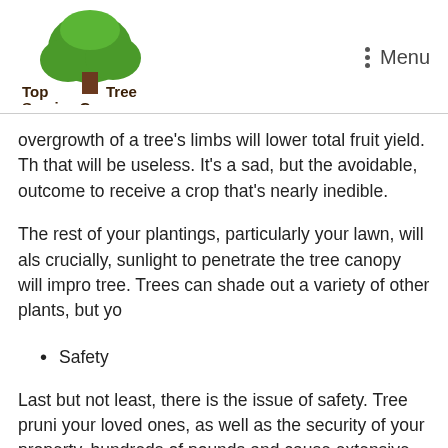Top Tree Service Co. | Menu
overgrowth of a tree's limbs will lower total fruit yield. Th that will be useless. It's a sad, but the avoidable, outcome to receive a crop that's nearly inedible.
The rest of your plantings, particularly your lawn, will als crucially, sunlight to penetrate the tree canopy will impro tree. Trees can shade out a variety of other plants, but yo
Safety
Last but not least, there is the issue of safety. Tree pruni your loved ones, as well as the security of your property. hundreds of pounds and cause extensive damage. There even death as a result. Trimming your trees can help to e